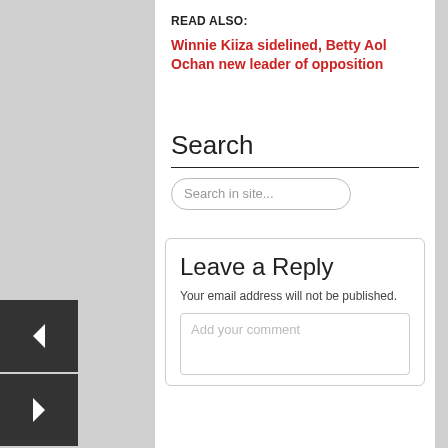READ ALSO:
Winnie Kiiza sidelined, Betty Aol Ochan new leader of opposition
Search
Search in site...
Leave a Reply
Your email address will not be published.
Add your comment